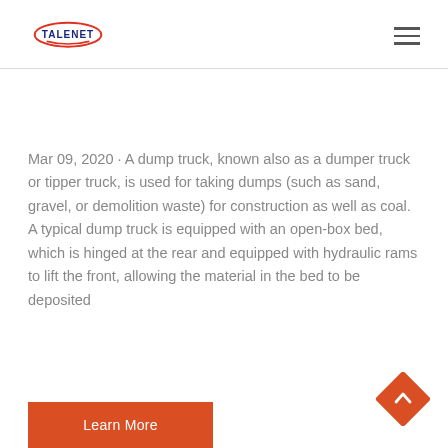TALENET
Mar 09, 2020 · A dump truck, known also as a dumper truck or tipper truck, is used for taking dumps (such as sand, gravel, or demolition waste) for construction as well as coal. A typical dump truck is equipped with an open-box bed, which is hinged at the rear and equipped with hydraulic rams to lift the front, allowing the material in the bed to be deposited